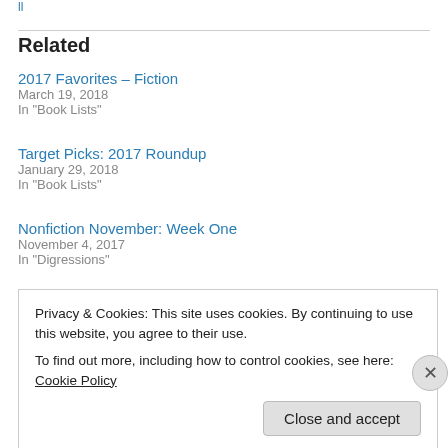Related
2017 Favorites – Fiction
March 19, 2018
In "Book Lists"
Target Picks: 2017 Roundup
January 29, 2018
In "Book Lists"
Nonfiction November: Week One
November 4, 2017
In "Digressions"
Privacy & Cookies: This site uses cookies. By continuing to use this website, you agree to their use.
To find out more, including how to control cookies, see here: Cookie Policy